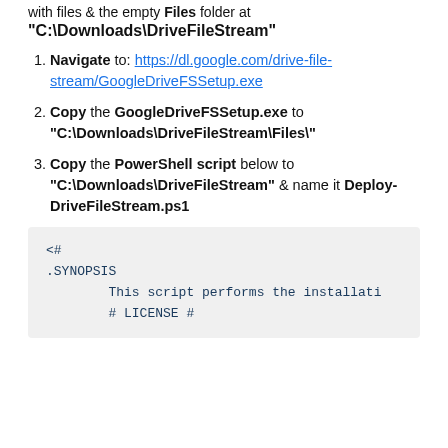with files & the empty Files folder at
"C:\Downloads\DriveFileStream"
Navigate to: https://dl.google.com/drive-file-stream/GoogleDriveFSSetup.exe
Copy the GoogleDriveFSSetup.exe to "C:\Downloads\DriveFileStream\Files\"
Copy the PowerShell script below to "C:\Downloads\DriveFileStream" & name it Deploy-DriveFileStream.ps1
<#
.SYNOPSIS
        This script performs the installati
        # LICENSE #